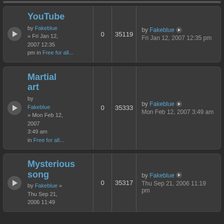YouTube by Fakeblue » Fri Jan 12, 2007 12:35 pm in Free for all... | 0 | 35119 | by Fakeblue Fri Jan 12, 2007 12:35 pm
Martial art by Fakeblue » Mon Feb 12, 2007 3:49 am in Free for all... | 0 | 35333 | by Fakeblue Mon Feb 12, 2007 3:49 am
Mysterious song by Fakeblue » Thu Sep 21, 2006 11:19 pm | 0 | 35317 | by Fakeblue Thu Sep 21, 2006 11:19 pm